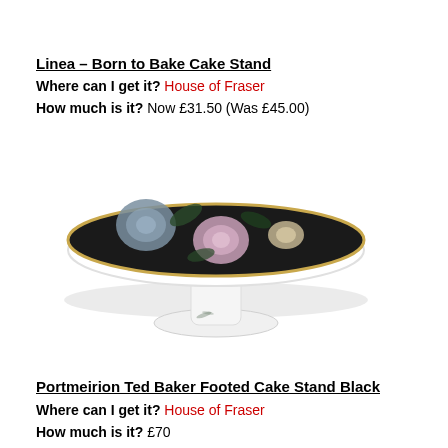Linea – Born to Bake Cake Stand
Where can I get it? House of Fraser
How much is it? Now £31.50 (Was £45.00)
[Figure (photo): A footed cake stand with a dark floral pattern (black background with roses) on the plate surface and a white pedestal base with dragonfly motif.]
Portmeirion Ted Baker Footed Cake Stand Black
Where can I get it? House of Fraser
How much is it? £70